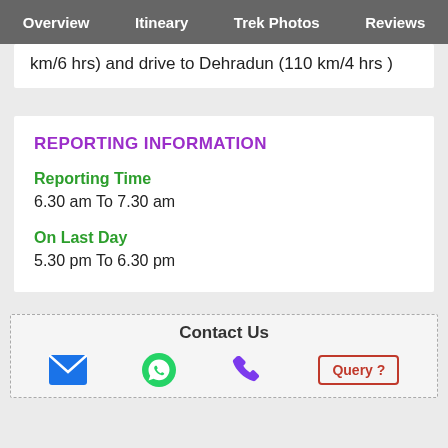Overview  Itineary  Trek Photos  Reviews
km/6 hrs) and drive to Dehradun (110 km/4 hrs )
REPORTING INFORMATION
Reporting Time
6.30 am To 7.30 am
On Last Day
5.30 pm To 6.30 pm
Contact Us
[Figure (infographic): Contact icons: email (blue envelope), WhatsApp (green), phone (purple), Query button (red border)]